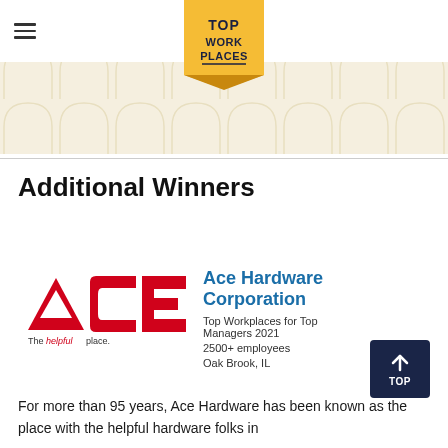[Figure (logo): Top Work Places golden badge/ribbon logo centered at top of page]
[Figure (illustration): Beige banner background with repeating arch/tile pattern]
Additional Winners
[Figure (logo): ACE Hardware logo — red ACE letters with triangle A, tagline 'The helpful place.']
Ace Hardware Corporation
Top Workplaces for Top Managers 2021
2500+ employees
Oak Brook, IL
For more than 95 years, Ace Hardware has been known as the place with the helpful hardware folks in